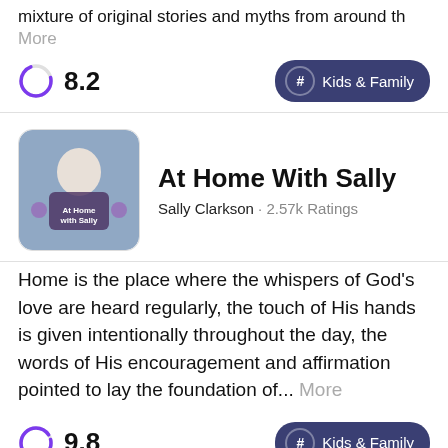mixture of original stories and myths from around th... More
8.2
# Kids & Family
At Home With Sally
Sally Clarkson · 2.57k Ratings
Home is the place where the whispers of God's love are heard regularly, the touch of His hands is given intentionally throughout the day, the words of His encouragement and affirmation pointed to lay the foundation of... More
9.8
# Kids & Family
Answer Me This!
Helen and Olly · 2.56k Ratings
Helen Zaltzman and Olly Mann host the award-winning